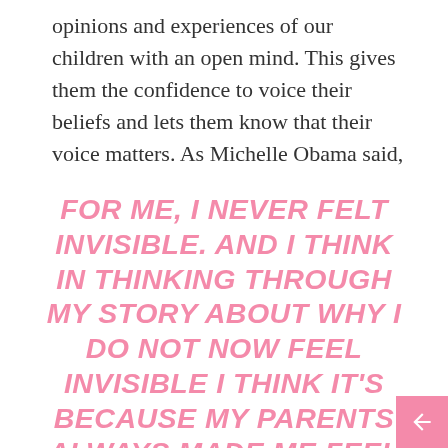opinions and experiences of our children with an open mind. This gives them the confidence to voice their beliefs and lets them know that their voice matters. As Michelle Obama said,
FOR ME, I NEVER FELT INVISIBLE. AND I THINK IN THINKING THROUGH MY STORY ABOUT WHY I DO NOT NOW FEEL INVISIBLE I THINK IT'S BECAUSE MY PARENTS ALWAYS MADE ME FEEL VISIBLE. IT CAME FROM THE SIMPLE TRUTH, NOT WHAT WAS GOING ON IN THE WORLD, BUT WHAT WAS...